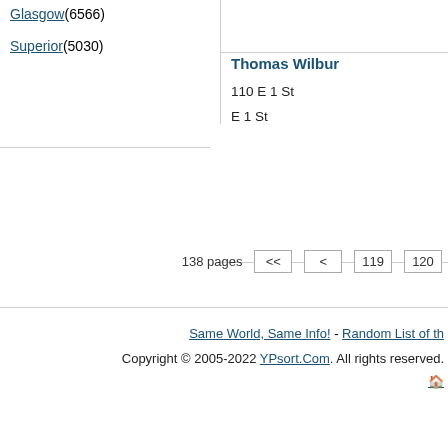Glasgow(6566)
Superior(5030)
Thomas Wilbur
110 E 1 St
E 1 St
138 pages  <<  <  119  120
Same World, Same Info! - Random List of th
Copyright © 2005-2022 YPsort.Com. All rights reserved.